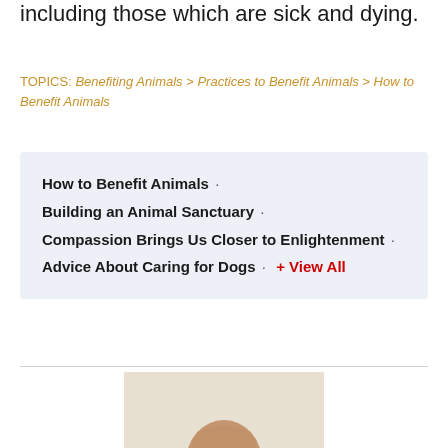including those which are sick and dying.
TOPICS: Benefiting Animals > Practices to Benefit Animals > How to Benefit Animals
How to Benefit Animals ·
Building an Animal Sanctuary ·
Compassion Brings Us Closer to Enlightenment ·
Advice About Caring for Dogs · + View All
[Figure (photo): Smiling Tibetan Buddhist monk in red and orange robes seated in a chair]